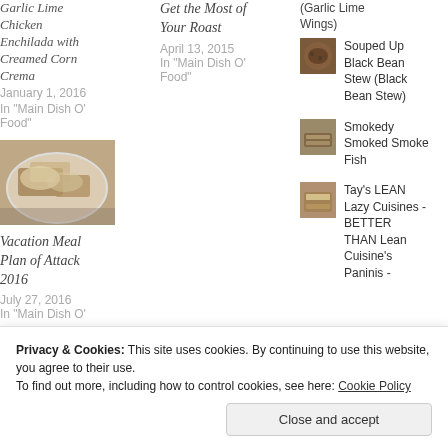Garlic Lime Chicken Enchilada with Creamed Corn Crema
January 1, 2016
In "Main Dish O' Food"
Get the Most of Your Roast
April 13, 2015
In "Main Dish O' Food"
[Figure (photo): Food photo showing a plate with baked/cheesy dish, Vacation Meal Plan of Attack 2016]
Vacation Meal Plan of Attack 2016
July 27, 2016
In "Main Dish O'
[Figure (photo): Thumbnail image for (Garlic Lime Wings)]
(Garlic Lime Wings)
[Figure (photo): Thumbnail image for Souped Up Black Bean Stew]
Souped Up Black Bean Stew (Black Bean Stew)
[Figure (photo): Thumbnail image for Smokedy Smoked Smoke Fish]
Smokedy Smoked Smoke Fish
[Figure (photo): Thumbnail image for Tay's LEAN Lazy Cuisines]
Tay's LEAN Lazy Cuisines - BETTER THAN Lean Cuisine's Paninis -
Privacy & Cookies: This site uses cookies. By continuing to use this website, you agree to their use. To find out more, including how to control cookies, see here: Cookie Policy
Close and accept